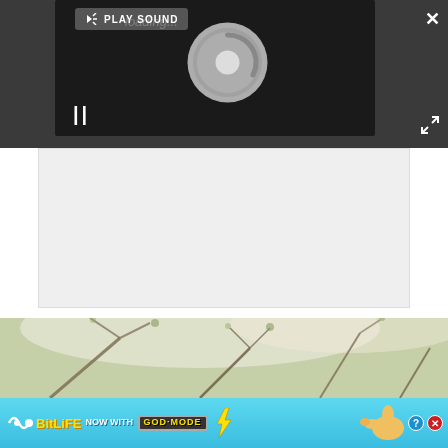[Figure (screenshot): Dark video player UI with 'PLAY SOUND' button at top, a loading spinner circle in center, and pause button (II) at bottom left. Dark gray background.]
[Figure (screenshot): Light gray blank/loading content area below the video player.]
[Figure (photo): Outdoor photo of tree branches against a bright sky, warm/vintage tone.]
[Figure (screenshot): BitLife advertisement banner: cyan/blue background with 'BitLife - NOW WITH GOD MODE' text, lightning bolt graphic, cartoon hand pointing, and close/help buttons.]